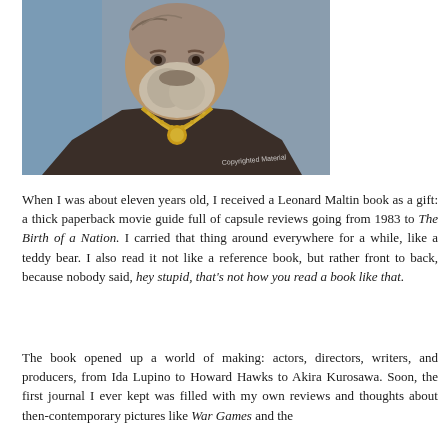[Figure (illustration): Stylized illustrated portrait of a man with a gray beard wearing a dark jacket and gold chain/medallion, against a blue-gray background. Watermark text reads 'Copyrighted Material'.]
When I was about eleven years old, I received a Leonard Maltin book as a gift: a thick paperback movie guide full of capsule reviews going from 1983 to The Birth of a Nation. I carried that thing around everywhere for a while, like a teddy bear. I also read it not like a reference book, but rather front to back, because nobody said, hey stupid, that's not how you read a book like that.
The book opened up a world of making: actors, directors, writers, and producers, from Ida Lupino to Howard Hawks to Akira Kurosawa. Soon, the first journal I ever kept was filled with my own reviews and thoughts about then-contemporary pictures like War Games and the